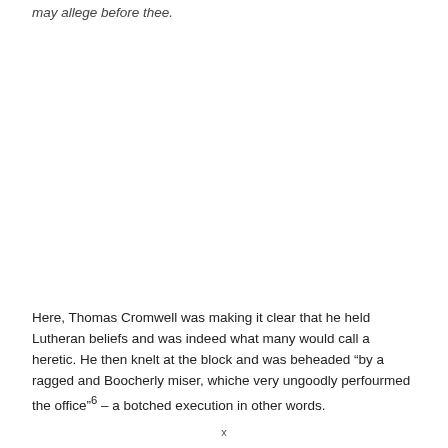may allege before thee.
Here, Thomas Cromwell was making it clear that he held Lutheran beliefs and was indeed what many would call a heretic. He then knelt at the block and was beheaded “by a ragged and Boocherly miser, whiche very ungoodly perfourmed the office”⁶ – a botched execution in other words.
x